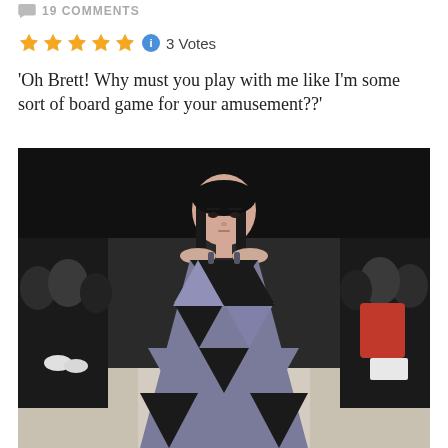19 COMMENTS
★★★★★ ℹ 3 Votes
'Oh Brett! Why must you play with me like I'm some sort of board game for your amusement??'
[Figure (photo): A fashion model walking a runway wearing a geometric black and lavender triangle-patterned sleeveless dress. Audience visible blurred in background on both sides.]